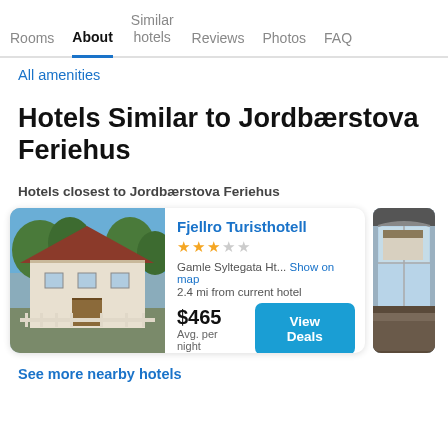Rooms  About  Similar hotels  Reviews  Photos  FAQ
All amenities
Hotels Similar to Jordbærstova Feriehus
Hotels closest to Jordbærstova Feriehus
[Figure (photo): Hotel exterior photo of Fjellro Turisthotell showing a white and brown building with trees]
Fjellro Turisthotell
★★★☆☆
Gamle Syltegata Ht...  Show on map
2.4 mi from current hotel
$465
Avg. per night
[View Deals]
[Figure (photo): Partial photo of another nearby hotel showing interior with large windows]
See more nearby hotels